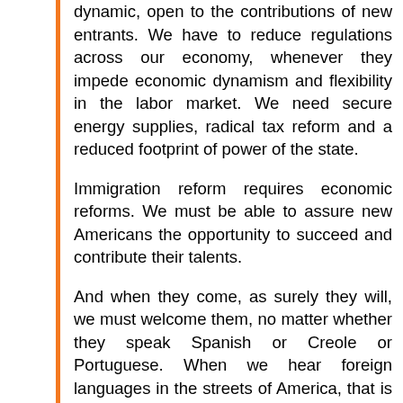dynamic, open to the contributions of new entrants. We have to reduce regulations across our economy, whenever they impede economic dynamism and flexibility in the labor market. We need secure energy supplies, radical tax reform and a reduced footprint of power of the state.
Immigration reform requires economic reforms. We must be able to assure new Americans the opportunity to succeed and contribute their talents.
And when they come, as surely they will, we must welcome them, no matter whether they speak Spanish or Creole or Portuguese. When we hear foreign languages in the streets of America, that is a validation of the Republican vision to create a place where people want to come and make their lives.